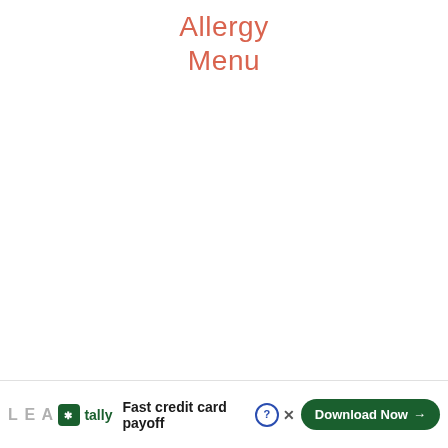Allergy
Menu
LEA  tally  Fast credit card payoff  Download Now →